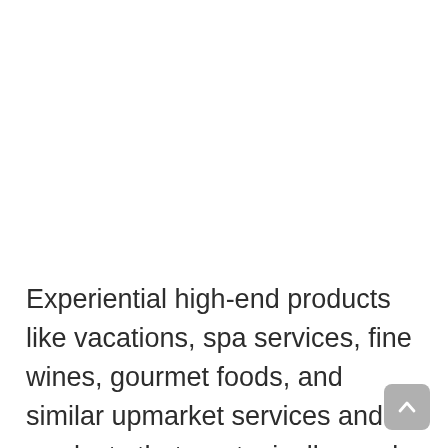Experiential high-end products like vacations, spa services, fine wines, gourmet foods, and similar upmarket services and products that are typically used up quickly or consumed as specialty food and drink. The other sub-category, personal products like bags, dresses, and pricey watches, last longer and are often sold by companies with famous names at specialty stores. During the fast past decades, the f...